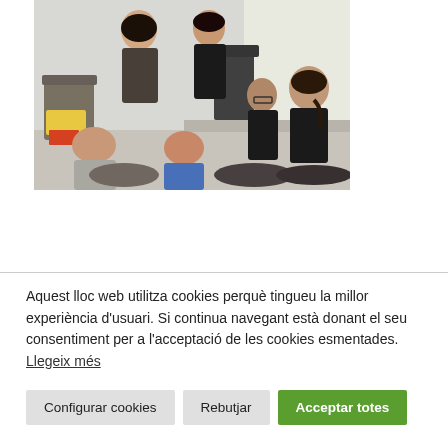[Figure (photo): Group of people sitting in a circle on the floor and chairs, having a discussion in a bright room.]
Aquest lloc web utilitza cookies perquè tingueu la millor experiència d'usuari. Si continua navegant està donant el seu consentiment per a l'acceptació de les cookies esmentades. Llegeix més
Configurar cookies
Rebutjar
Acceptar totes